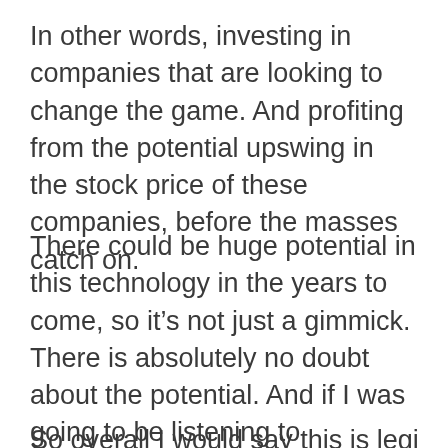In other words, investing in companies that are looking to change the game. And profiting from the potential upswing in the stock price of these companies, before the masses catch on.
There could be huge potential in this technology in the years to come, so it's not just a gimmick. There is absolutely no doubt about the potential. And if I was going to be listening to anybody's tips on investing in this space, he'd be at the top of my list.
So overall I would say this is legit and could